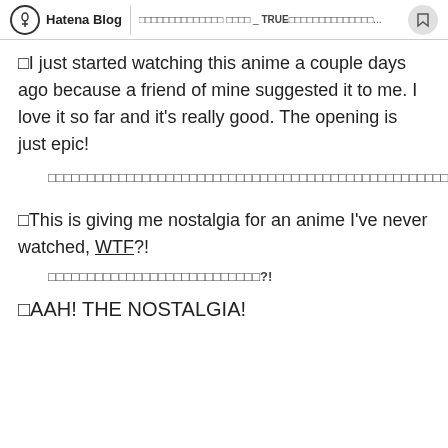Hatena Blog | □□□□□□□□□□□□□□ □□□□ _ TRUE□□□□□□□□□□□□□□...
□I just started watching this anime a couple days ago because a friend of mine suggested it to me. I love it so far and it's really good. The opening is just epic!
□□□□□□□□□□□□□□□□□□□□□□□□□□□□□□□□□□□□□□□□□□□□□□□□□□□□□□□□□□□□□□□□□□
□This is giving me nostalgia for an anime I've never watched, WTF?!
□□□□□□□□□□□□□□□□□□□□□□□□□□□?!
□AAH! THE NOSTALGIA!